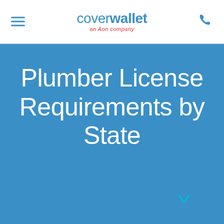coverwallet an Aon company
Plumber License Requirements by State